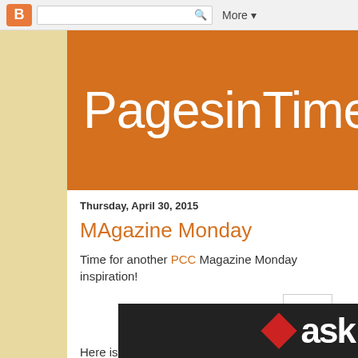Blogger toolbar with search and More button
PagesinTime
Thursday, April 30, 2015
MAgazine Monday
Time for another PCC Magazine Monday inspiration!
[Figure (other): Broken image placeholder thumbnail]
Here is my art journal page
[Figure (photo): Partial photo showing dark background with word 'ask' in large letters and a red diamond shape, bottom of page]